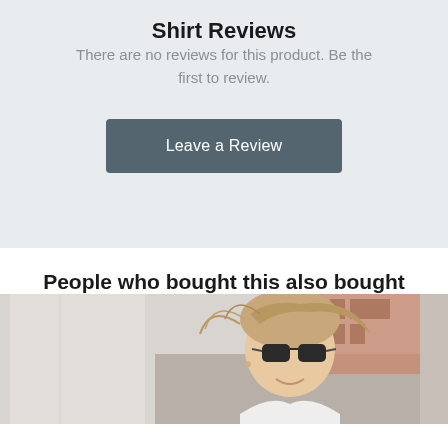Shirt Reviews
There are no reviews for this product. Be the first to review.
Leave a Review
People who bought this also bought
[Figure (photo): Partial view of a woman wearing sunglasses, with wind-blown hair, smiling, outdoors with a building in background]